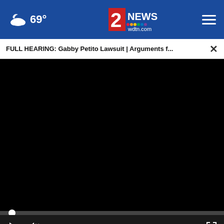69° — 2 NEWS wdtn.com
FULL HEARING: Gabby Petito Lawsuit | Arguments f... ×
[Figure (screenshot): Black video player area showing a paused/unloaded video with progress bar at beginning (00:00) and playback controls including play button, mute button, timestamp 00:00, and fullscreen button]
[Figure (photo): Partial view of a person with tattoos visible on their body]
[Figure (other): Advertisement banner: 'WHAT IS YOUR KID FEELING? GET SONGS TO SOUND IT OUT.' with Sound It Out and Ad Council and Pivotal logos]